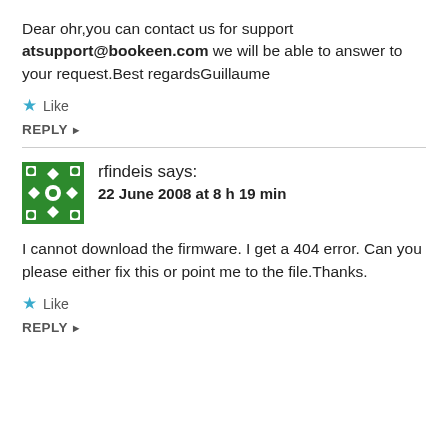Dear ohr,you can contact us for support atsupport@bookeen.com we will be able to answer to your request.Best regardsGuillaume
★ Like
REPLY ▶
rfindeis says: 22 June 2008 at 8 h 19 min
I cannot download the firmware. I get a 404 error. Can you please either fix this or point me to the file.Thanks.
★ Like
REPLY ▶